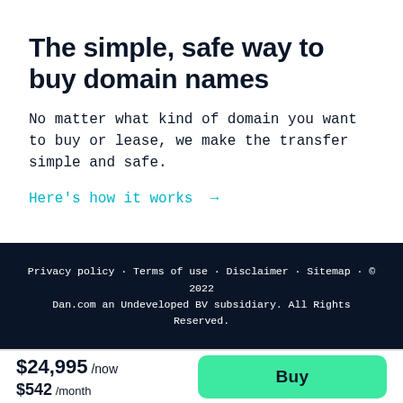The simple, safe way to buy domain names
No matter what kind of domain you want to buy or lease, we make the transfer simple and safe.
Here's how it works →
Privacy policy · Terms of use · Disclaimer · Sitemap · © 2022 Dan.com an Undeveloped BV subsidiary. All Rights Reserved.
$24,995 /now $542 /month
Buy